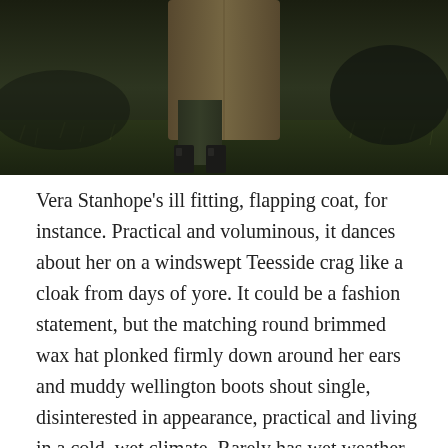[Figure (photo): A dark outdoor photograph showing the lower body of a person wearing a long coat and dark boots, standing on grass in dim lighting.]
Vera Stanhope's ill fitting, flapping coat, for instance. Practical and voluminous, it dances about her on a windswept Teesside crag like a cloak from days of yore. It could be a fashion statement, but the matching round brimmed wax hat plonked firmly down around her ears and muddy wellington boots shout single, disinterested in appearance, practical and living in a cold, wet climate. Rarely has wet weather gear been so lacking in sensuality or style (and that is saying something) – much like plain talking, sharp witted, middle aged matron police detective Vera Drake. A woman who hasn't so much given up on romance, as decided that it is a frivolous impractical waste of consumption. So. So she loves drink. Detective...